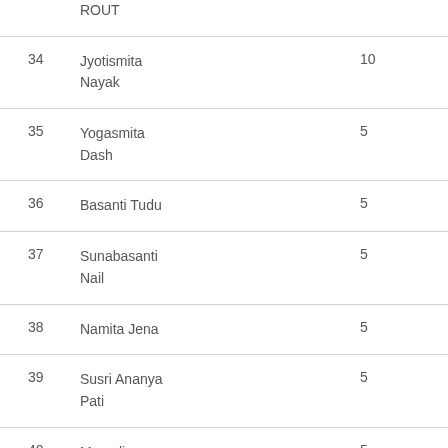| # | Name | Value |
| --- | --- | --- |
| 34 | Jyotismita Nayak | 10 |
| 35 | Yogasmita Dash | 5 |
| 36 | Basanti Tudu | 5 |
| 37 | Sunabasanti Nail | 5 |
| 38 | Namita Jena | 5 |
| 39 | Susri Ananya Pati | 5 |
| 40 | Mamali Mandal | 5 |
| 41 | Sukanti | 5 |